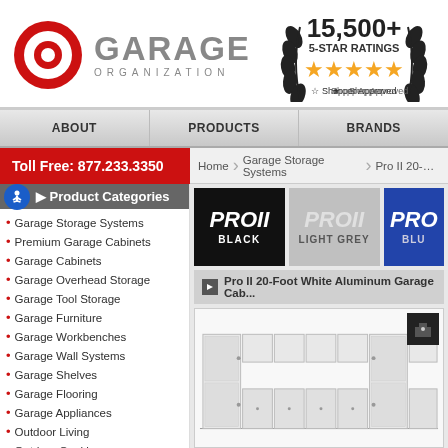[Figure (logo): Garage Organization logo with red circular G icon and grey GARAGE ORGANIZATION text]
[Figure (infographic): 15,500+ 5-Star Ratings badge with gold stars and Shopper Approved logo]
ABOUT | PRODUCTS | BRANDS
Toll Free: 877.233.3350
Home > Garage Storage Systems > Pro II 20-Fo...
Product Categories
Garage Storage Systems
Premium Garage Cabinets
Garage Cabinets
Garage Overhead Storage
Garage Tool Storage
Garage Furniture
Garage Workbenches
Garage Wall Systems
Garage Shelves
Garage Flooring
Garage Appliances
Outdoor Living
Outdoor Cooking
[Figure (screenshot): PRO II BLACK, PRO II LIGHT GREY, PRO II BLUE color selection tiles]
Pro II 20-Foot White Aluminum Garage Cab...
[Figure (photo): White aluminum garage cabinet storage system product photo]